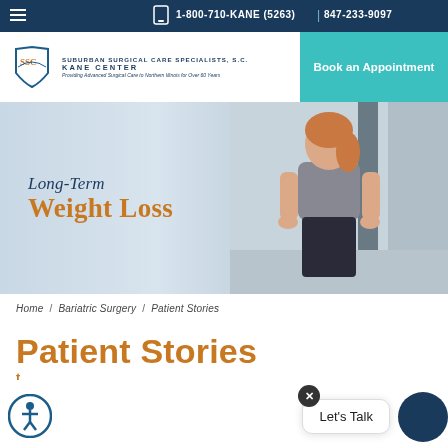1-800-710-KANE (5263) | 847-233-9097
[Figure (logo): Suburban Surgical Care Specialists, S.C. Kane Center logo with tagline 'Providing Advanced Surgical Care to Northern Illinois for Over 60 Years']
Book an Appointment
[Figure (photo): Young woman in athletic wear (sports bra and dark pants) smiling with hands on hips against a light gray background]
Long-Term Weight Loss
Home / Bariatric Surgery / Patient Stories
Patient Stories
Let's Talk